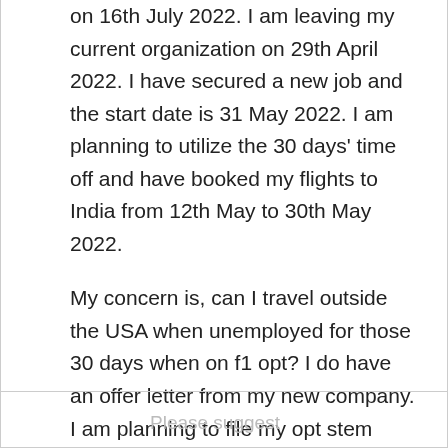on 16th July 2022. I am leaving my current organization on 29th April 2022. I have secured a new job and the start date is 31 May 2022. I am planning to utilize the 30 days' time off and have booked my flights to India from 12th May to 30th May 2022.
My concern is, can I travel outside the USA when unemployed for those 30 days when on f1 opt? I do have an offer letter from my new company. I am planning to file my opt stem extension with the new company when I am back from India.
Please suggest